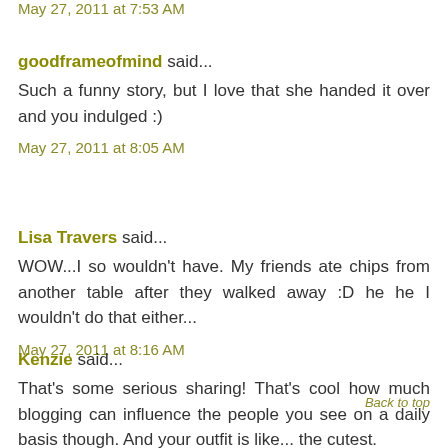May 27, 2011 at 7:53 AM
goodframeofmind said...
Such a funny story, but I love that she handed it over and you indulged :)
May 27, 2011 at 8:05 AM
Lisa Travers said...
WOW...I so wouldn't have. My friends ate chips from another table after they walked away :D he he I wouldn't do that either...
May 27, 2011 at 8:16 AM
Kenzie said...
That's some serious sharing! That's cool how much blogging can influence the people you see on a daily basis though. And your outfit is like... the cutest.
Back to top